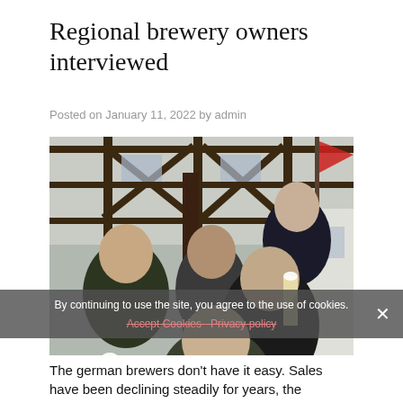Regional brewery owners interviewed
Posted on January 11, 2022 by admin
[Figure (photo): Group photo of five men outdoors, some holding beer glasses, in front of a half-timbered building with a red flag visible.]
By continuing to use the site, you agree to the use of cookies. Accept Cookies Privacy policy
The german brewers don't have it easy. Sales have been declining steadily for years, the